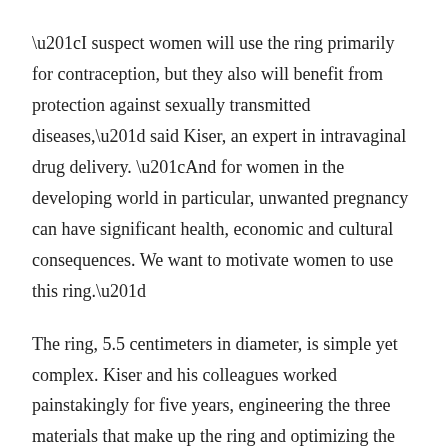“I suspect women will use the ring primarily for contraception, but they also will benefit from protection against sexually transmitted diseases,” said Kiser, an expert in intravaginal drug delivery. “And for women in the developing world in particular, unwanted pregnancy can have significant health, economic and cultural consequences. We want to motivate women to use this ring.”
The ring, 5.5 centimeters in diameter, is simple yet complex. Kiser and his colleagues worked painstakingly for five years, engineering the three materials that make up the ring and optimizing the device to reliably deliver fixed and efficacious doses